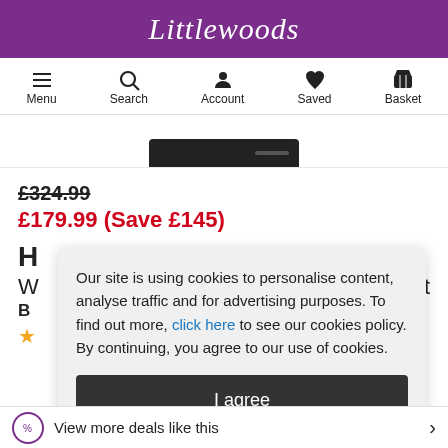Littlewoods
[Figure (screenshot): Navigation bar with Menu, Search, Account, Saved, Basket icons]
[Figure (photo): Partial product image - black device bottom portion visible]
£324.99
£179.99 (Save £145)
Our site is using cookies to personalise content, analyse traffic and for advertising purposes. To find out more, click here to see our cookies policy. By continuing, you agree to our use of cookies.
I agree
View more deals like this